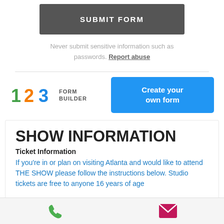SUBMIT FORM
Never submit sensitive information such as passwords. Report abuse
[Figure (logo): 123 Form Builder logo with colorful digits 1 (green), 2 (orange), 3 (blue) and text FORM BUILDER]
Create your own form
SHOW INFORMATION
Ticket Information
If you're in or plan on visiting Atlanta and would like to attend THE SHOW please follow the instructions below. Studio tickets are free to anyone 16 years of age
[Figure (other): Bottom navigation bar with phone icon (green) and email envelope icon (pink/magenta)]